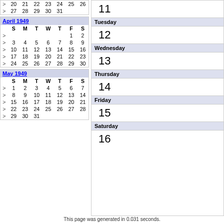|  | S | M | T | W | T | F | S |
| --- | --- | --- | --- | --- | --- | --- | --- |
| > | 20 | 21 | 22 | 23 | 24 | 25 | 26 |
| > | 27 | 28 | 29 | 30 | 31 |  |  |
|  | S | M | T | W | T | F | S |
| --- | --- | --- | --- | --- | --- | --- | --- |
| > |  |  |  |  |  | 1 | 2 |
| > | 3 | 4 | 5 | 6 | 7 | 8 | 9 |
| > | 10 | 11 | 12 | 13 | 14 | 15 | 16 |
| > | 17 | 18 | 19 | 20 | 21 | 22 | 23 |
| > | 24 | 25 | 26 | 27 | 28 | 29 | 30 |
|  | S | M | T | W | T | F | S |
| --- | --- | --- | --- | --- | --- | --- | --- |
| > | 1 | 2 | 3 | 4 | 5 | 6 | 7 |
| > | 8 | 9 | 10 | 11 | 12 | 13 | 14 |
| > | 15 | 16 | 17 | 18 | 19 | 20 | 21 |
| > | 22 | 23 | 24 | 25 | 26 | 27 | 28 |
| > | 29 | 30 | 31 |  |  |  |  |
11
Tuesday
12
Wednesday
13
Thursday
14
Friday
15
Saturday
16
This page was generated in 0.031 seconds.